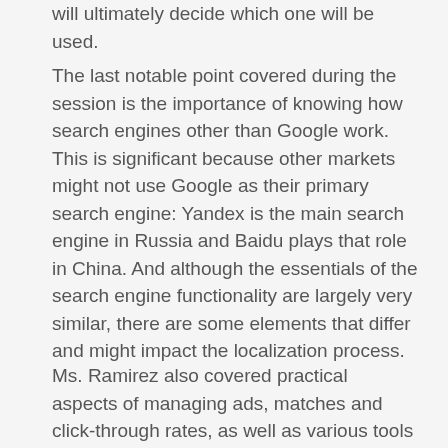will ultimately decide which one will be used.
The last notable point covered during the session is the importance of knowing how search engines other than Google work. This is significant because other markets might not use Google as their primary search engine: Yandex is the main search engine in Russia and Baidu plays that role in China. And although the essentials of the search engine functionality are largely very similar, there are some elements that differ and might impact the localization process.
Ms. Ramirez also covered practical aspects of managing ads, matches and click-through rates, as well as various tools for managing